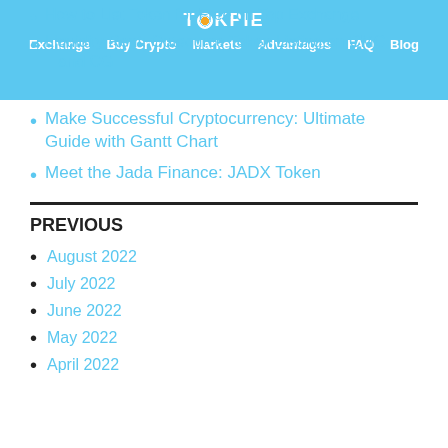TOKPIE — Exchange | Buy Crypto | Markets | Advantages | FAQ | Blog
How to List Token for Free on Top Exchange
Liquidity Rent: Outsource Token Listing on CMC and CG
Make Successful Cryptocurrency: Ultimate Guide with Gantt Chart
Meet the Jada Finance: JADX Token
PREVIOUS
August 2022
July 2022
June 2022
May 2022
April 2022